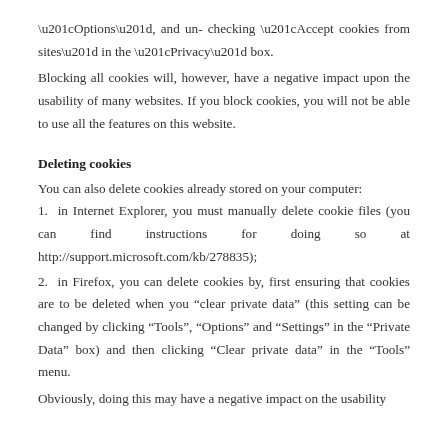“Options”, and un- checking “Accept cookies from sites” in the “Privacy” box.
Blocking all cookies will, however, have a negative impact upon the usability of many websites. If you block cookies, you will not be able to use all the features on this website.
Deleting cookies
You can also delete cookies already stored on your computer:
1.  in Internet Explorer, you must manually delete cookie files (you can find instructions for doing so at http://support.microsoft.com/kb/278835);
2.  in Firefox, you can delete cookies by, first ensuring that cookies are to be deleted when you “clear private data” (this setting can be changed by clicking “Tools”, “Options” and “Settings” in the “Private Data” box) and then clicking “Clear private data” in the “Tools” menu.
Obviously, doing this may have a negative impact on the usability